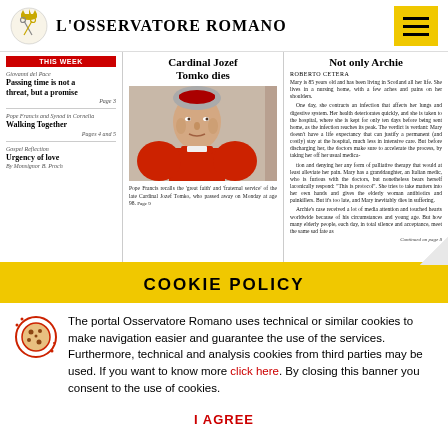L'OSSERVATORE ROMANO
THIS WEEK
Giovanni del Pace
Passing time is not a threat, but a promise
Page 3
Pope Francis and Synod in Cornelia
Walking Together
Pages 4 and 5
Gospel Reflection
Urgency of love
By Monsignor B. Proch
Cardinal Jozef Tomko dies
[Figure (photo): Photo of Cardinal Jozef Tomko, elderly man wearing cardinal red vestments and zucchetto]
Pope Francis recalls the 'great faith' and 'fraternal service' of the late Cardinal Jozef Tomko, who passed away on Monday at age 98.  Page 9
Not only Archie
Roberto Cetera
Mary is 85 years old and has been living in Scotland all her life. She lives in a nursing home, with a few aches and pains on her shoulders.

One day, she contracts an infection that affects her lungs and digestive system. Her health deteriorates quickly, and she is taken to the hospital, where she is kept for only ten days before being sent home, as the infection reaches its peak. The verdict is verdant: Mary doesn't have a life expectancy that can justify a permanent (and costly) stay at the hospital, much less in intensive care. But before discharging her, the doctors make sure to accelerate the process, by taking her off her usual medication and denying her any form of palliative therapy that would at least alleviate her pain. Mary has a granddaughter, an Italian medic, who is furious with the doctors, but nonetheless bears herself laconically respond: "This is protocol". She tries to take matters into her own hands and gives the elderly woman antibiotics and painkillers. But it's too late, and Mary inevitably dies in suffering.

Archie's case received a lot of media attention and touched hearts worldwide because of his circumstances and young age. But how many elderly people, each day, in total silence and acceptance, meet the same sad fate as
Continued on page 8
COOKIE POLICY
The portal Osservatore Romano uses technical or similar cookies to make navigation easier and guarantee the use of the services. Furthermore, technical and analysis cookies from third parties may be used. If you want to know more click here. By closing this banner you consent to the use of cookies.
I AGREE